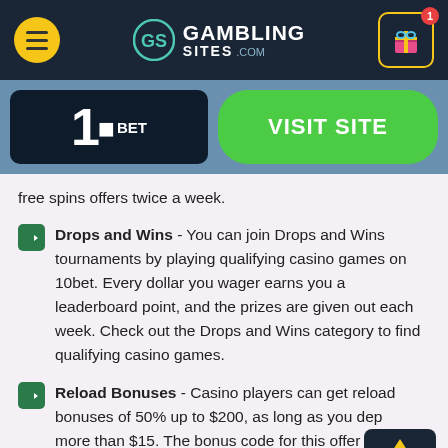GamblingS ites.com header with menu and gift icon
[Figure (logo): 10bet logo on dark background with green VISIT SITE button]
free spins offers twice a week.
Drops and Wins - You can join Drops and Wins tournaments by playing qualifying casino games on 10bet. Every dollar you wager earns you a leaderboard point, and the prizes are given out each week. Check out the Drops and Wins category to find qualifying casino games.
Reload Bonuses - Casino players can get reload bonuses of 50% up to $200, as long as you dep more than $15. The bonus code for this offer changes often, so you will have to visit the